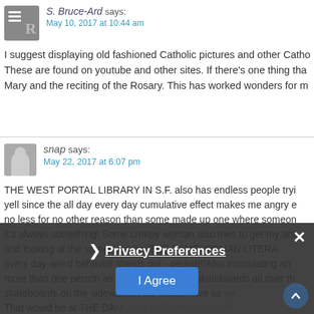S. Bruce-Ard says: May 10, 2017 at 10:44 am
I suggest displaying old fashioned Catholic pictures and other Catho... These are found on youtube and other sites. If there's one thing tha... Mary and the reciting of the Rosary. This has worked wonders for m...
snap says: May 22, 2017 at 6:07 pm
THE WEST PORTAL LIBRARY IN S.F. also has endless people tryi... yell since the all day every day cumulative effect makes me angry e... no less for no other reason than some made up one where someon... it's always something! Some creepy woman also tries to get my atte... and looking at the screen! earlier THE SAME WOMAN LITERA... every day weird behavior stands out - period!!!Also intimidating an... more than one person as well. Bicycles and skateboards all over th... skateboards on the sidewalke! And where I live as yo... That would be at THE DAM...ON 34 TURK street wh...re eve... upsatirs neighbor and comes...
Privacy Preferences
I Agree